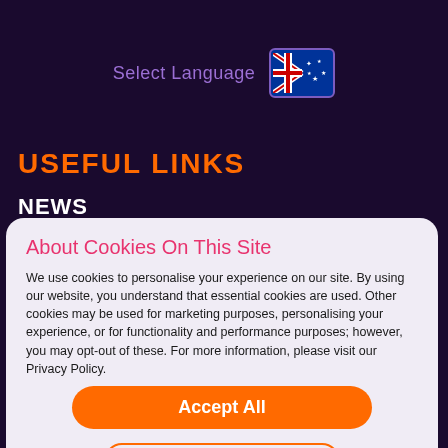Select Language
USEFUL LINKS
NEWS
About Cookies On This Site
We use cookies to personalise your experience on our site. By using our website, you understand that essential cookies are used. Other cookies may be used for marketing purposes, personalising your experience, or for functionality and performance purposes; however, you may opt-out of these. For more information, please visit our Privacy Policy.
Accept All
Options